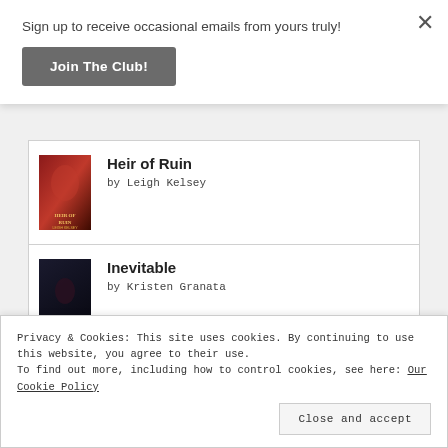Sign up to receive occasional emails from yours truly!
Join The Club!
Heir of Ruin
by Leigh Kelsey
Inevitable
by Kristen Granata
by Piper Lawson
Privacy & Cookies: This site uses cookies. By continuing to use this website, you agree to their use.
To find out more, including how to control cookies, see here: Our Cookie Policy
Close and accept